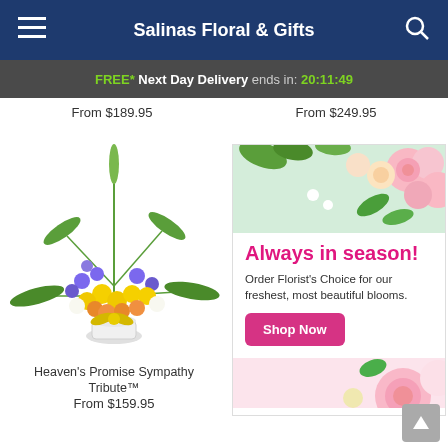Salinas Floral & Gifts
FREE* Next Day Delivery ends in: 20:11:49
From $189.95   From $249.95
[Figure (photo): Floral arrangement: Heaven's Promise Sympathy Tribute with yellow and purple flowers in white vase]
Heaven's Promise Sympathy Tribute™
From $159.95
[Figure (infographic): Promotional banner: Always in season! Order Florist's Choice for our freshest, most beautiful blooms. Shop Now button with pink flowers background.]